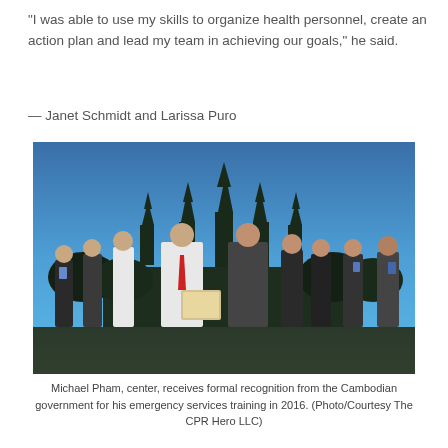“I was able to use my skills to organize health personnel, create an action plan and lead my team in achieving our goals,” he said.
— Janet Schmidt and Larissa Puro
[Figure (photo): Group photo of Michael Pham in the center receiving a framed certificate from a Cambodian government official, with several other people standing around them. The background shows Angkor Wat temple silhouette against a blue twilight sky.]
Michael Pham, center, receives formal recognition from the Cambodian government for his emergency services training in 2016. (Photo/Courtesy The CPR Hero LLC)